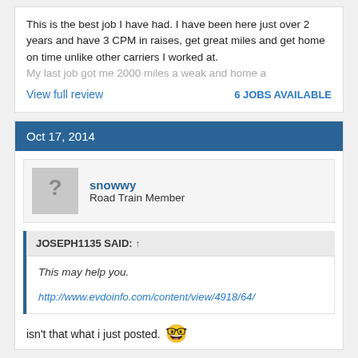This is the best job I have had. I have been here just over 2 years and have 3 CPM in raises, get great miles and get home on time unlike other carriers I worked at. My last job got me 2000 miles a weak and home a
View full review
6 JOBS AVAILABLE
Oct 17, 2014
snowwy
Road Train Member
JOSEPH1135 SAID: ↑
This may help you.
http://www.evdoinfo.com/content/view/4918/64/
isn't that what i just posted.